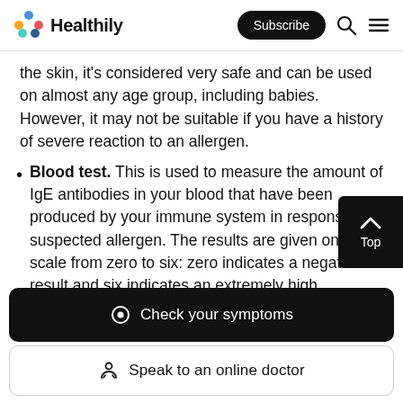Healthily — Subscribe
the skin, it's considered very safe and can be used on almost any age group, including babies. However, it may not be suitable if you have a history of severe reaction to an allergen.
Blood test. This is used to measure the amount of IgE antibodies in your blood that have been produced by your immune system in response to a suspected allergen. The results are given on a scale from zero to six: zero indicates a negative result and six indicates an extremely high sensitivity. Blood tests are particularly useful when you are at risk of an extreme reaction or
Check your symptoms
Speak to an online doctor